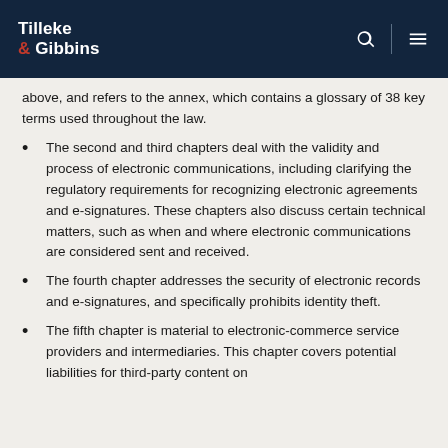Tilleke & Gibbins
above, and refers to the annex, which contains a glossary of 38 key terms used throughout the law.
The second and third chapters deal with the validity and process of electronic communications, including clarifying the regulatory requirements for recognizing electronic agreements and e-signatures. These chapters also discuss certain technical matters, such as when and where electronic communications are considered sent and received.
The fourth chapter addresses the security of electronic records and e-signatures, and specifically prohibits identity theft.
The fifth chapter is material to electronic-commerce service providers and intermediaries. This chapter covers potential liabilities for third-party content on